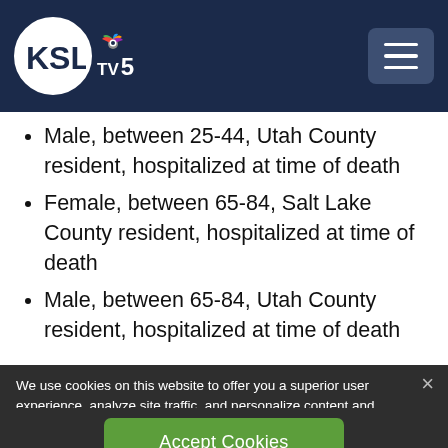KSL TV 5
Male, between 25-44, Utah County resident, hospitalized at time of death
Female, between 65-84, Salt Lake County resident, hospitalized at time of death
Male, between 65-84, Utah County resident, hospitalized at time of death
We use cookies on this website to offer you a superior user experience, analyze site traffic, and personalize content and advertisements. By continuing to use our site, you consent to our use of cookies. Please visit our Privacy Policy for more information.